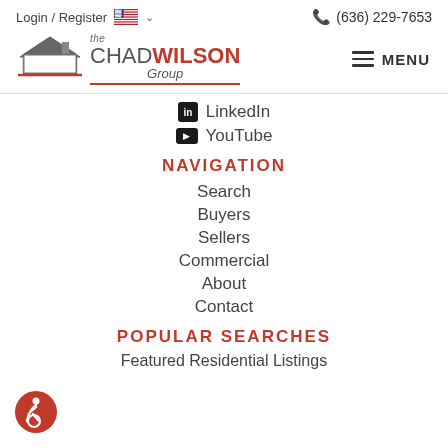Login / Register  (636) 229-7653
[Figure (logo): The Chad Wilson Group real estate logo with house icon]
LinkedIn
YouTube
NAVIGATION
Search
Buyers
Sellers
Commercial
About
Contact
POPULAR SEARCHES
Featured Residential Listings